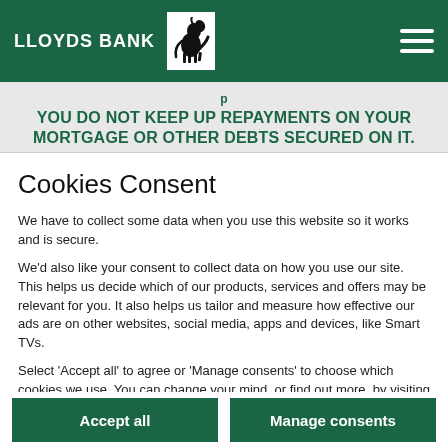LLOYDS BANK
YOU DO NOT KEEP UP REPAYMENTS ON YOUR MORTGAGE OR OTHER DEBTS SECURED ON IT.
Cookies Consent
We have to collect some data when you use this website so it works and is secure.
We'd also like your consent to collect data on how you use our site. This helps us decide which of our products, services and offers may be relevant for you. It also helps us tailor and measure how effective our ads are on other websites, social media, apps and devices, like Smart TVs.
Select 'Accept all' to agree or 'Manage consents' to choose which cookies we use. You can change your mind, or find out more, by visiting our Cookies Policy
Accept all
Manage consents